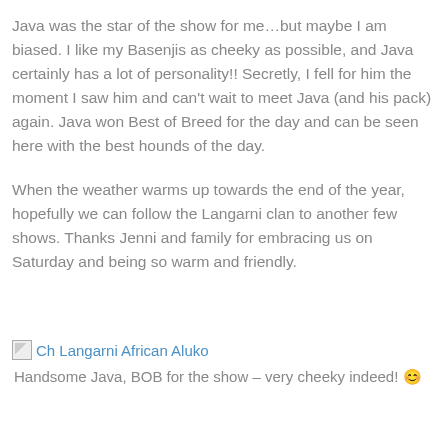Java was the star of the show for me…but maybe I am biased.  I like my Basenjis as cheeky as possible, and Java certainly has a lot of personality!!  Secretly, I fell for him the moment I saw him and can't wait to meet Java (and his pack) again.  Java won Best of Breed for the day and can be seen here with the best hounds of the day.
When the weather warms up towards the end of the year, hopefully we can follow the Langarni clan to another few shows.  Thanks Jenni and family for embracing us on Saturday and being so warm and friendly.
[Figure (photo): Broken image placeholder for Ch Langarni African Aluko]
Handsome Java, BOB for the show – very cheeky indeed! 😊